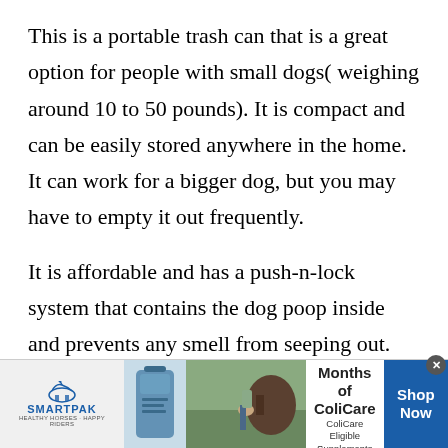This is a portable trash can that is a great option for people with small dogs( weighing around 10 to 50 pounds). It is compact and can be easily stored anywhere in the home. It can work for a bigger dog, but you may have to empty it out frequently.
It is affordable and has a push-n-lock system that contains the dog poop inside and prevents any smell from seeping out. This trash can package comes with seven-layer of refill bags and an in-built odour barrier technology.
[Figure (infographic): SmartPak advertisement banner: logo on left with horse icon, product image, photo of person with horse, promotional text '50% Off Two Months of ColiCare - ColiCare Eligible Supplements - CODE: COLICARE10', and blue 'Shop Now' button on right.]